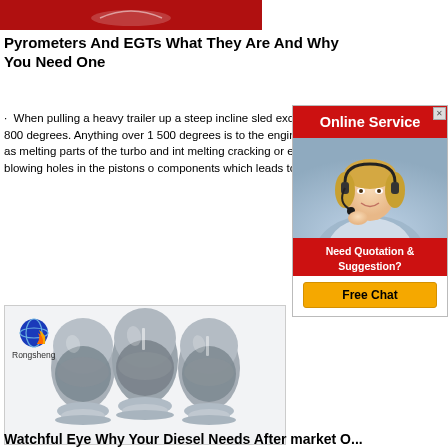[Figure (photo): Red banner/image strip at top with partial boat or logo image]
Pyrometers And EGTs What They Are And Why You Need One
· When pulling a heavy trailer up a steep incline sled exceed 1 800 degrees. Anything over 1 500 degrees is to the engine such as melting parts of the turbo and int melting cracking or even blowing holes in the pistons o components which leads to
[Figure (photo): Advertisement panel: Red bar reading 'Online Service', photo of woman with headset, red section saying 'Need Quotation & Suggestion?', orange button 'Free Chat']
[Figure (photo): Product image showing three egg-shaped containers filled with grey powder (material/refractory) displayed on white background, with small Rongsheng logo in top-left corner]
Watchful Eye Why Your Diesel Needs After market O...